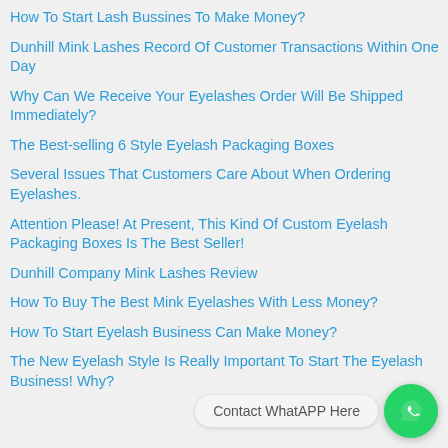How To Start Lash Bussines To Make Money?
Dunhill Mink Lashes Record Of Customer Transactions Within One Day
Why Can We Receive Your Eyelashes Order Will Be Shipped Immediately?
The Best-selling 6 Style Eyelash Packaging Boxes
Several Issues That Customers Care About When Ordering Eyelashes.
Attention Please! At Present, This Kind Of Custom Eyelash Packaging Boxes Is The Best Seller!
Dunhill Company Mink Lashes Review
How To Buy The Best Mink Eyelashes With Less Money?
How To Start Eyelash Business Can Make Money?
The New Eyelash Style Is Really Important To Start The Eyelash Business! Why?